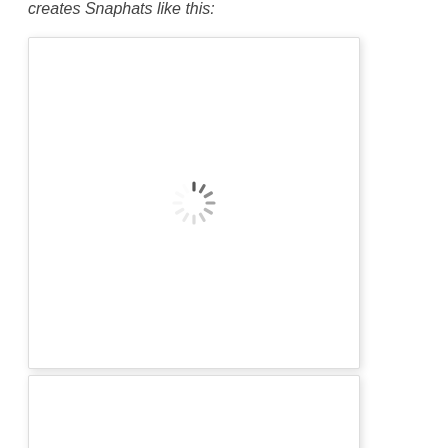creates Snaphats like this:
[Figure (other): Loading placeholder image box with a spinner icon in the center, white background with light gray border and shadow]
[Figure (other): Second loading placeholder image box, partially visible at bottom of page, white background with light gray border and shadow]